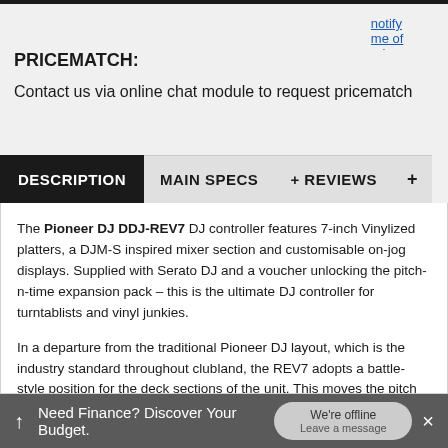notify me of price changes
PRICEMATCH:
Contact us via online chat module to request pricematch
DESCRIPTION  MAIN SPECS  + REVIEWS  +
The Pioneer DJ DDJ-REV7 DJ controller features 7-inch Vinylized platters, a DJM-S inspired mixer section and customisable on-jog displays. Supplied with Serato DJ and a voucher unlocking the pitch-n-time expansion pack – this is the ultimate DJ controller for turntablists and vinyl junkies.
In a departure from the traditional Pioneer DJ layout, which is the industry standard throughout clubland, the REV7 adopts a battle-style position for the deck sections of the unit. This moves the pitch control to the top of the unit and drops the traditional play and cue button
↑  Need Finance? Discover Your Budget.  We're offline  Leave a message  ×